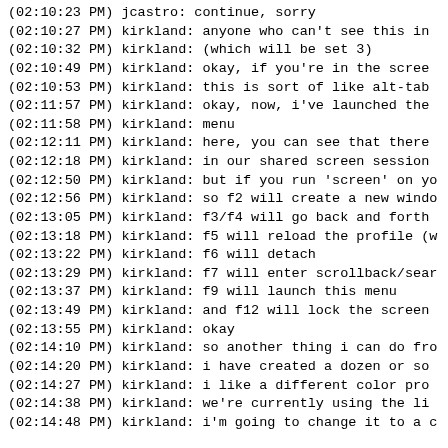(02:10:23 PM) jcastro: continue, sorry
(02:10:27 PM) kirkland: anyone who can't see this in
(02:10:32 PM) kirkland: (which will be set 3)
(02:10:49 PM) kirkland: okay, if you're in the scree
(02:10:53 PM) kirkland: this is sort of like alt-tab
(02:11:57 PM) kirkland: okay, now, i've launched the
(02:11:58 PM) kirkland: menu
(02:12:11 PM) kirkland: here, you can see that there
(02:12:18 PM) kirkland: in our shared screen session
(02:12:50 PM) kirkland: but if you run 'screen' on yo
(02:12:56 PM) kirkland: so f2 will create a new windo
(02:13:05 PM) kirkland: f3/f4 will go back and forth
(02:13:18 PM) kirkland: f5 will reload the profile (w
(02:13:22 PM) kirkland: f6 will detach
(02:13:29 PM) kirkland: f7 will enter scrollback/sear
(02:13:37 PM) kirkland: f9 will launch this menu
(02:13:49 PM) kirkland: and f12 will lock the screen
(02:13:55 PM) kirkland: okay
(02:14:10 PM) kirkland: so another thing i can do fro
(02:14:20 PM) kirkland: i have created a dozen or so
(02:14:27 PM) kirkland: i like a different color pro
(02:14:38 PM) kirkland: we're currently using the li
(02:14:48 PM) kirkland: i'm going to change it to a c